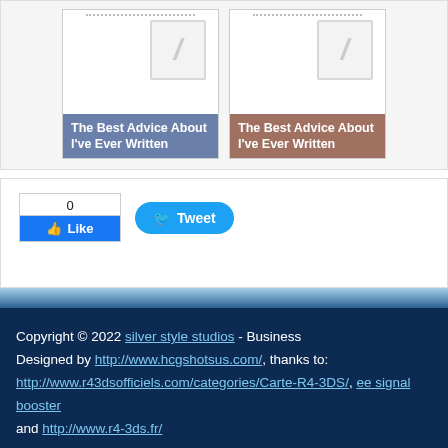[Figure (screenshot): Two blog post thumbnail cards side by side. Left card has a blue label overlay reading 'The Best Advice About I've Ever Written'. Right card has a brown/reddish label overlay with same text. Both cards show notebook-style placeholder images.]
[Figure (screenshot): Social media buttons: Facebook Like widget showing count 0, and a Twitter Tweet button.]
Copyright © 2022 silver style studios - Business Designed by http://www.hcgshotsus.com/, thanks to: http://www.r43dsofficiels.com/categories/Carte-R4-3DS/, ee signal booster and http://www.r4-3ds.fr/